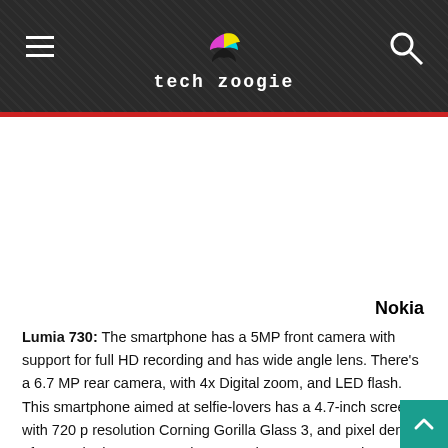Tech Zoogle
Nokia Lumia 730: The smartphone has a 5MP front camera with support for full HD recording and has wide angle lens. There's a 6.7 MP rear camera, with 4x Digital zoom, and LED flash. This smartphone aimed at selfie-lovers has a 4.7-inch screen with 720 p resolution Corning Gorilla Glass 3, and pixel density of 316 ppi. The processor is a Snapdragon 400, quad-core clocked at 1.2GHz. The smartphone has 1 GB RAM, 8GB storage space and supports microSD with 128GB as the limit. Like the 830, there's also free